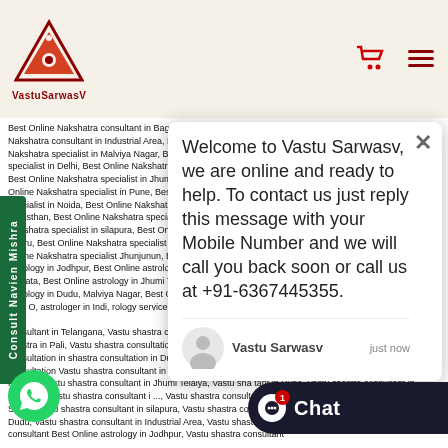VastuSarwasV logo and navigation
Best Online Nakshatra consultant in Bagru, Best Online Nakshatra consultant in Dudu, Best Online Nakshatra consultant in Industrial Area, Best Online Nakshatra consultant in Jhunjunun, Best Online Nakshatra specialist in Malviya Nagar, Best Online Nakshatra specialist in Jodhpur, Best Online Nakshatra specialist in Delhi, Best Online Nakshatra specialist in Mumbai, Best Online Nakshatra specialist in Kolkata, Best Online Nakshatra specialist in Jhumi Telaiya, Best Online Nakshatra specialist in Chhattisgarh, Best Online Nakshatra specialist in Pune, Best Online Nakshatra specialist in Gurgaon, Best Online Nakshatra specialist in Noida, Best Online Nakshatra specialist in Telangana, Best Online Nakshatra specialist in Rajasthan, Best Online Nakshatra specialist in Sirohi, Best Online Nakshatra specialist in Pali, Best Online Nakshatra specialist in silapura, Best Online Nakshatra specialist in VKI, Best Online Nakshatra specialist in Bagru, Best Online Nakshatra specialist in Dudu, Best Online Nakshatra specialist in Industrial Area, Best Online Nakshatra specialist Jhunjunun, Best Online Nakshatra specialist in Malviya Nagar, Best Online astrology in Jodhpur, Best Online astrology Delhi, Best Online astrology in Mumbai, Best Online astrology in Kolkata, Best Online astrology in Jhumi Telaiya, Best Online astrology Noida, Best Online astrology in Pali, astrology in Dudu, Malviya Nagar, Best Online astrologer, astrologer in Pune, Best Online astro, silapura, Best O, astrologer in Indi, rology service, rology service, ine Astrology, t Online Astro, ine Astrology s
Welcome to Vastu Sarwasv, we are online and ready to help. To contact us just reply this message with your Mobile Number and we will call you back soon or call us at +91-6367445355.
Vastu Sarwasv   just now
Consult Navien Mishra
consultant in Telangana, Vastu shastra consultant in Rajasthan, Vastu shastra consultant in Sirohi, Vastu shastra in Pali, Vastu shastra consultation in silapura, Vastu shastra consultation in VKI, Vastu shastra consultation in shastra consultation in Dudu, Vastu shastra consultation in Industrial Area, Vastu shastra consultation Vastu shastra consultant in Jodhpur, Vastu shastra consultant in Delhi, Vastu sha ... tant in Kolkata, Vastu shastra consultant in Jhumi Telaiya, Vastu sha tant in Pune, Vastu shastra consultant in Gurgaon, Vastu shastra consultant i ..., Vastu shastra consultant in Rajasthan, Vastu shastra consultant in Sirohi, Vastu shastra consultant in silapura, Vastu shastra consultant in VKI, Vastu shastra co consultant in Dudu, Vastu shastra consultant in Industrial Area, Vastu shastra consultant in Jhunjunun, Vastu shstra consultant Best Online astrology in Jodhpur, Vastu shastra consultant